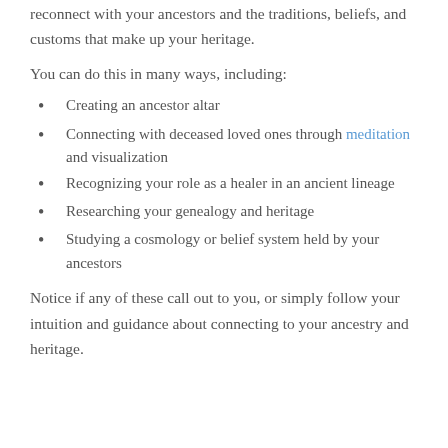reconnect with your ancestors and the traditions, beliefs, and customs that make up your heritage.
You can do this in many ways, including:
Creating an ancestor altar
Connecting with deceased loved ones through meditation and visualization
Recognizing your role as a healer in an ancient lineage
Researching your genealogy and heritage
Studying a cosmology or belief system held by your ancestors
Notice if any of these call out to you, or simply follow your intuition and guidance about connecting to your ancestry and heritage.